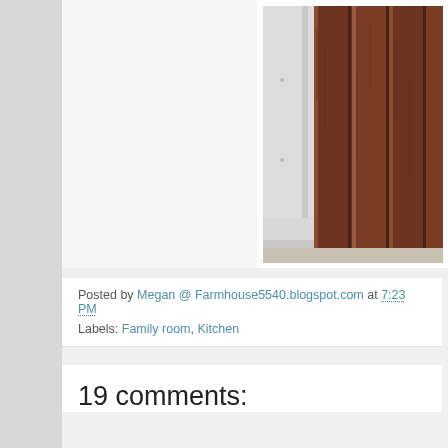[Figure (photo): Close-up photo of white painted wood trim/baseboard molding against dark brown wood plank wall (barn-style or shiplap wood paneling). The white trim piece is vertical with a decorative base cap at the bottom.]
Posted by Megan @ Farmhouse5540.blogspot.com at 7:23 PM
Labels: Family room, Kitchen
19 comments: